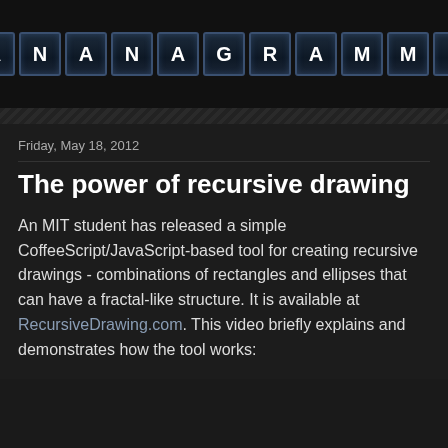[Figure (logo): BANANAGRAMMER logo made of Scrabble-tile-style letter blocks on dark background]
Friday, May 18, 2012
The power of recursive drawing
An MIT student has released a simple CoffeeScript/JavaScript-based tool for creating recursive drawings - combinations of rectangles and ellipses that can have a fractal-like structure. It is available at RecursiveDrawing.com. This video briefly explains and demonstrates how the tool works: